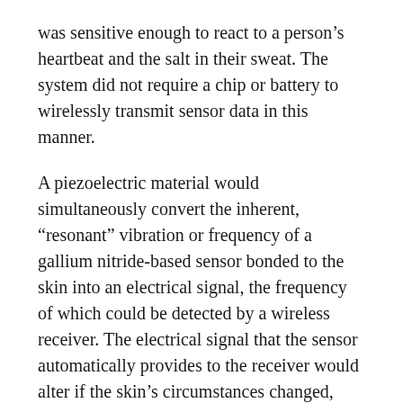was sensitive enough to react to a person's heartbeat and the salt in their sweat. The system did not require a chip or battery to wirelessly transmit sensor data in this manner.
A piezoelectric material would simultaneously convert the inherent, “resonant” vibration or frequency of a gallium nitride-based sensor bonded to the skin into an electrical signal, the frequency of which could be detected by a wireless receiver. The electrical signal that the sensor automatically provides to the receiver would alter if the skin’s circumstances changed, such as if the heart rate increased.
The scientists created a tiny coating of high-quality, pure gallium nitride, and then combined it